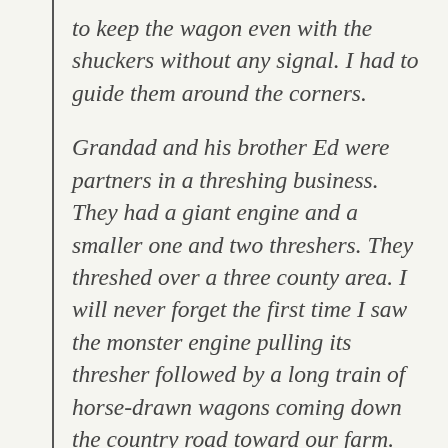to keep the wagon even with the shuckers without any signal. I had to guide them around the corners.
Grandad and his brother Ed were partners in a threshing business. They had a giant engine and a smaller one and two threshers. They threshed over a three county area. I will never forget the first time I saw the monster engine pulling its thresher followed by a long train of horse-drawn wagons coming down the country road toward our farm. The huffing, puffing, smoking, hissing, clanging, giant engine was a marvel to my eyes. It was so heavy it